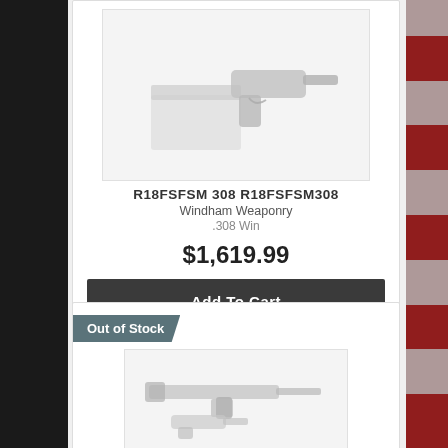[Figure (photo): Product image of a handgun (likely Windham Weaponry pistol) shown with box on light gray background]
R18FSFSM 308 R18FSFSM308
Windham Weaponry
.308 Win
$1,619.99
Add To Cart
Out of Stock
[Figure (photo): Product image of a rifle (likely an AR-style rifle) shown with another firearm on light gray background]